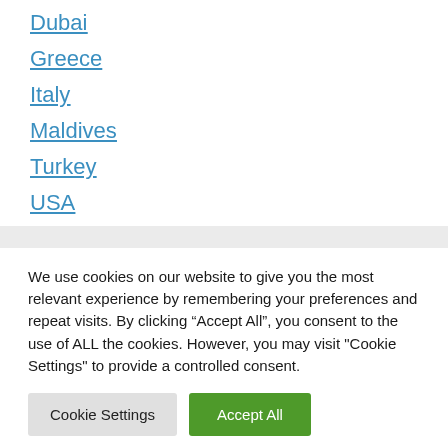Dubai
Greece
Italy
Maldives
Turkey
USA
We use cookies on our website to give you the most relevant experience by remembering your preferences and repeat visits. By clicking “Accept All”, you consent to the use of ALL the cookies. However, you may visit "Cookie Settings" to provide a controlled consent.
Cookie Settings | Accept All